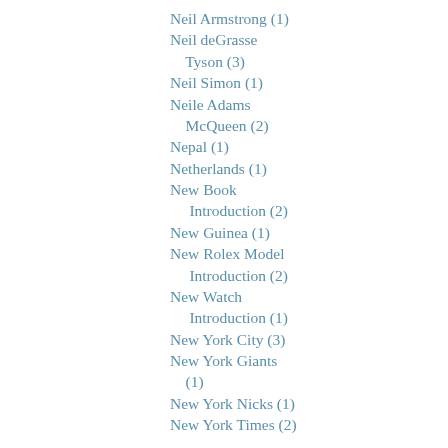Neil Armstrong (1)
Neil deGrasse Tyson (3)
Neil Simon (1)
Neile Adams McQueen (2)
Nepal (1)
Netherlands (1)
New Book Introduction (2)
New Guinea (1)
New Rolex Model Introduction (2)
New Watch Introduction (1)
New York City (3)
New York Giants (1)
New York Nicks (1)
New York Times (2)